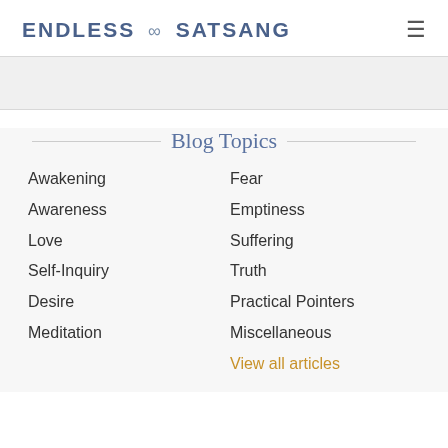ENDLESS ∞ SATSANG
Blog Topics
Awakening
Fear
Awareness
Emptiness
Love
Suffering
Self-Inquiry
Truth
Desire
Practical Pointers
Meditation
Miscellaneous
View all articles